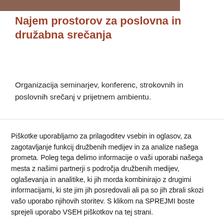[Figure (photo): Partial image strip at the top of the page, showing a cropped brown/warm-toned photograph]
Najem prostorov za poslovna in družabna srečanja
Organizacija seminarjev, konferenc, strokovnih in poslovnih srečanj v prijetnem ambientu.
Piškotke uporabljamo za prilagoditev vsebin in oglasov, za zagotavljanje funkcij družbenih medijev in za analize našega prometa. Poleg tega delimo informacije o vaši uporabi našega mesta z našimi partnerji s področja družbenih medijev, oglaševanja in analitike, ki jih morda kombinirajo z drugimi informacijami, ki ste jim jih posredovali ali pa so jih zbrali skozi vašo uporabo njihovih storitev. S klikom na SPREJMI boste sprejeli uporabo VSEH piškotkov na tej strani.
Nastavitve piškotkov | SPREJMI